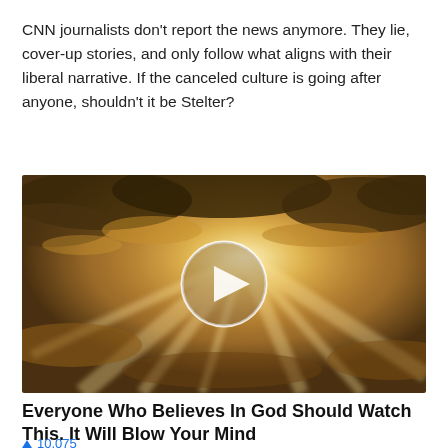CNN journalists don't report the news anymore. They lie, cover-up stories, and only follow what aligns with their liberal narrative. If the canceled culture is going after anyone, shouldn't it be Stelter?
[Figure (photo): A dramatic sky with sunbeams breaking through dark clouds, golden light, with a circular white play button overlay in the center — a video thumbnail.]
Everyone Who Believes In God Should Watch This. It Will Blow Your Mind
▲ 10,075